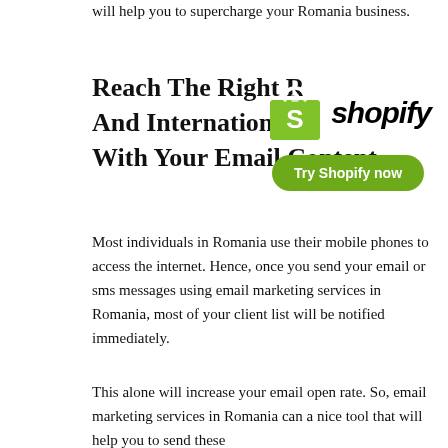will help you to supercharge your Romania business.
Reach The Right Romanian And International Audience With Your Email Content
[Figure (logo): Shopify logo with shopping bag icon and 'Try Shopify now' button]
Most individuals in Romania use their mobile phones to access the internet. Hence, once you send your email or sms messages using email marketing services in Romania, most of your client list will be notified immediately.
This alone will increase your email open rate. So, email marketing services in Romania can a nice tool that will help you to send these